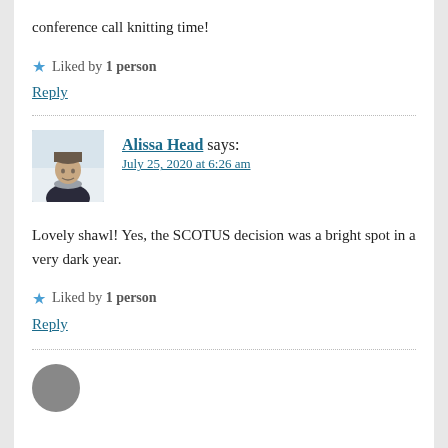conference call knitting time!
★ Liked by 1 person
Reply
[Figure (photo): Profile photo of Alissa Head, a person wearing a knit hat and scarf outdoors in winter]
Alissa Head says:
July 25, 2020 at 6:26 am
Lovely shawl! Yes, the SCOTUS decision was a bright spot in a very dark year.
★ Liked by 1 person
Reply